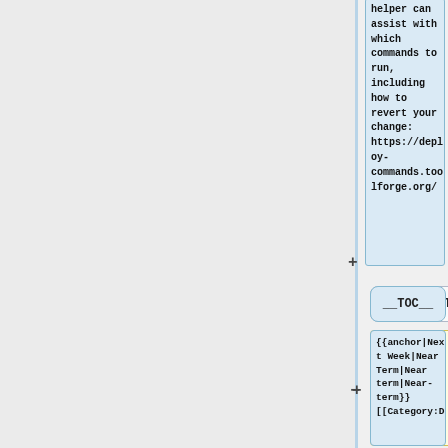[Figure (screenshot): Wiki diff view showing right column with blue highlighted text: 'helper can assist with which commands to run, including how to revert your change: https://deploy-commands.toolforge.org/' with a + indicator on the left divider]
__TOC__
__TOC__
{{clear}}
{{anchor|Next Week|Near Term|Near term|Near-term}} [[Category:D